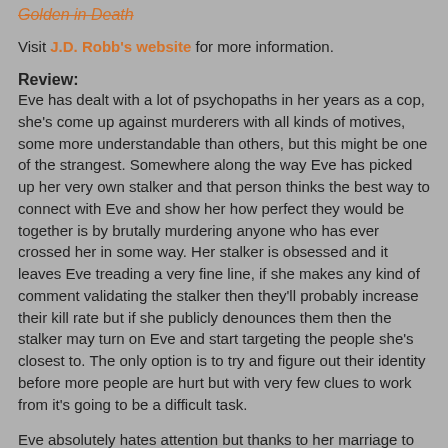Golden in Death
Visit J.D. Robb's website for more information.
Review:
Eve has dealt with a lot of psychopaths in her years as a cop, she's come up against murderers with all kinds of motives, some more understandable than others, but this might be one of the strangest. Somewhere along the way Eve has picked up her very own stalker and that person thinks the best way to connect with Eve and show her how perfect they would be together is by brutally murdering anyone who has ever crossed her in some way. Her stalker is obsessed and it leaves Eve treading a very fine line, if she makes any kind of comment validating the stalker then they'll probably increase their kill rate but if she publicly denounces them then the stalker may turn on Eve and start targeting the people she's closest to. The only option is to try and figure out their identity before more people are hurt but with very few clues to work from it's going to be a difficult task.
Eve absolutely hates attention but thanks to her marriage to